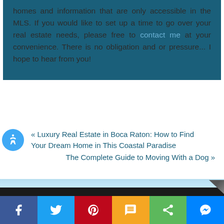homes and information that are only accessible in the MLS. If you would like to set up a time to go over your real estate needs, please free to contact me at your convenience. There is no obligation and or pressure... I hope to hear from you!
« Luxury Real Estate in Boca Raton: How to Find Your Dream Home in This Coastal Paradise
The Complete Guide to Moving With a Dog »
Contact Me Now
[Figure (infographic): Social share bar with Facebook, Twitter, Pinterest, SMS, Share, and Messenger buttons]